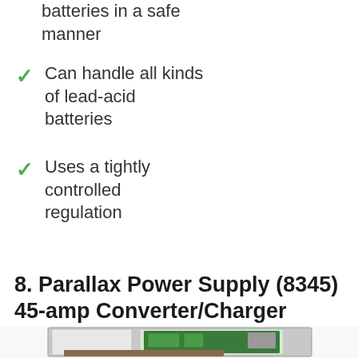batteries in a safe manner
Can handle all kinds of lead-acid batteries
Uses a tightly controlled regulation
8. Parallax Power Supply (8345) 45-amp Converter/Charger
[Figure (photo): Parallax Power Supply 8345 45-amp Converter/Charger product photo showing open metal enclosure with circuit board, wiring terminals, and documentation panels]